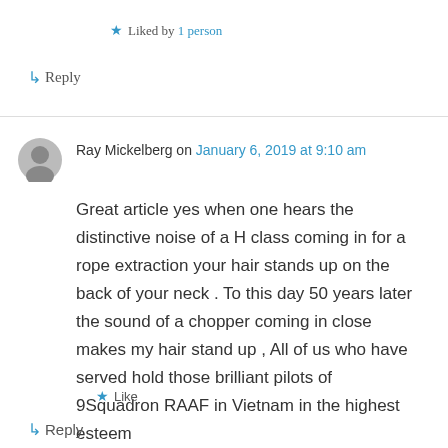★ Liked by 1 person
↳ Reply
Ray Mickelberg on January 6, 2019 at 9:10 am
Great article yes when one hears the distinctive noise of a H class coming in for a rope extraction your hair stands up on the back of your neck . To this day 50 years later the sound of a chopper coming in close makes my hair stand up , All of us who have served hold those brilliant pilots of 9Squadron RAAF in Vietnam in the highest esteem
★ Like
↳ Reply